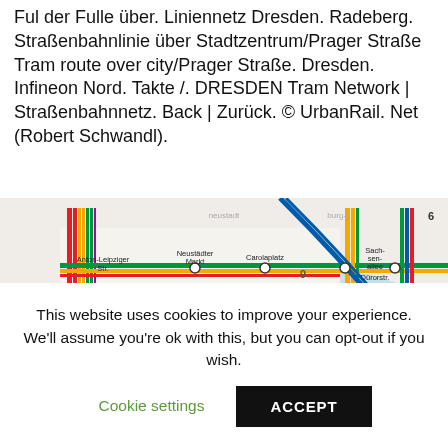Ful der Fulle über. Liniennetz Dresden. Radeberg. Straßenbahnlinie über Stadtzentrum/Prager Straße Tram route over city/Prager Straße. Dresden. Infineon Nord. Takte /. DRESDEN Tram Network | Straßenbahnnetz. Back | Zurück. © UrbanRail. Net (Robert Schwandl).
[Figure (map): Partial view of Dresden tram network map showing stations including Anton-Leipziger Str., Neustädter Markt, Carolaplatz, Palaispl., Kongresszentrum, Bau Augustus-brücke bis 2019, Syna-goge, Gerichts-, Sach-sen-allee, Dürorstr., St. Ben. Multiple colored tram lines are visible.]
This website uses cookies to improve your experience. We'll assume you're ok with this, but you can opt-out if you wish.
Cookie settings
ACCEPT